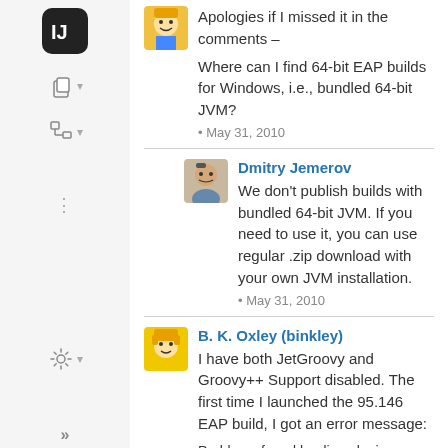Apologies if I missed it in the comments –
Where can I find 64-bit EAP builds for Windows, i.e., bundled 64-bit JVM?
• May 31, 2010
Dmitry Jemerov
We don't publish builds with bundled 64-bit JVM. If you need to use it, you can use regular .zip download with your own JVM installation.
• May 31, 2010
B. K. Oxley (binkley)
I have both JetGroovy and Groovy++ Support disabled. The first time I launched the 95.146 EAP build, I got an error message:
Problems found loading plugins:
Plugin "org.intellij.groovy.gpp" was not loaded: required plugin "org.intellij.groovy" is disabled.
Come to think of it, I do not recall the